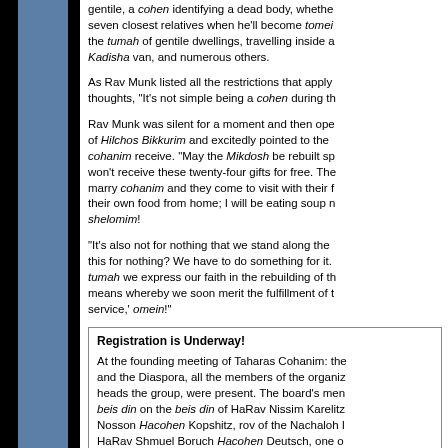gentile, a cohen identifying a dead body, whether seven closest relatives when he'll become tomei the tumah of gentile dwellings, travelling inside a Kadisha van, and numerous others.
As Rav Munk listed all the restrictions that apply thoughts, "It's not simple being a cohen during th
Rav Munk was silent for a moment and then ope of Hilchos Bikkurim and excitedly pointed to the cohanim receive. "May the Mikdosh be rebuilt sp won't receive these twenty-four gifts for free. The marry cohanim and they come to visit with their f their own food from home; I will be eating soup n shelomim!
"It's also not for nothing that we stand along the this for nothing? We have to do something for it. tumah we express our faith in the rebuilding of th means whereby we soon merit the fulfillment of t service,' omein!"
Registration is Underway!
At the founding meeting of Taharas Cohanim: the and the Diaspora, all the members of the organiz heads the group, were present. The board's men beis din on the beis din of HaRav Nissim Karelitz Nosson Hacohen Kopshitz, rov of the Nachaloh I HaRav Shmuel Boruch Hacohen Deutsch, one o